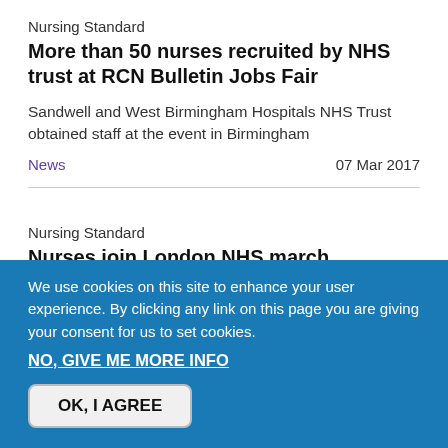Nursing Standard
More than 50 nurses recruited by NHS trust at RCN Bulletin Jobs Fair
Sandwell and West Birmingham Hospitals NHS Trust obtained staff at the event in Birmingham
News   07 Mar 2017
Nursing Standard
Nurses join London NHS march
The It's Our NHS event will see people march to a rally at the Houses of Parliament.
News   02 Mar 2017
We use cookies on this site to enhance your user experience. By clicking any link on this page you are giving your consent for us to set cookies.
NO, GIVE ME MORE INFO
OK, I AGREE